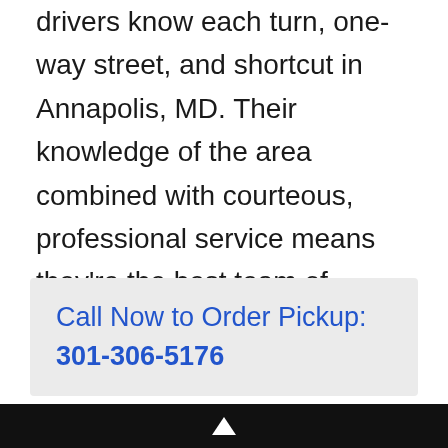drivers know each turn, one-way street, and shortcut in Annapolis, MD. Their knowledge of the area combined with courteous, professional service means they're the best team of couriers in the area.
Call Now to Order Pickup: 301-306-5176
We guarantee same-day pickup and delivery for items of any size and shape. From a stack of documents to hot, catered food, we'll